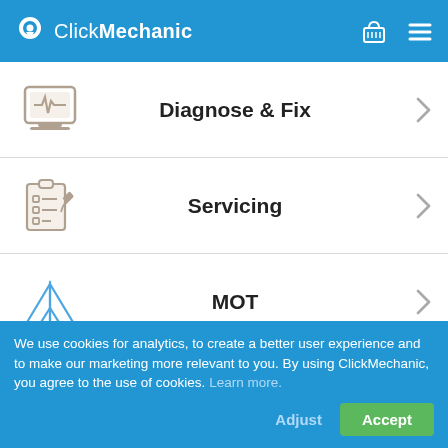ClickMechanic
Diagnose & Fix
Servicing
MOT
Tyres
We use cookies for analytics, to create a better user experience and to make our marketing more relevant to you. By using ClickMechanic, you agree to the use of cookies. Learn more.